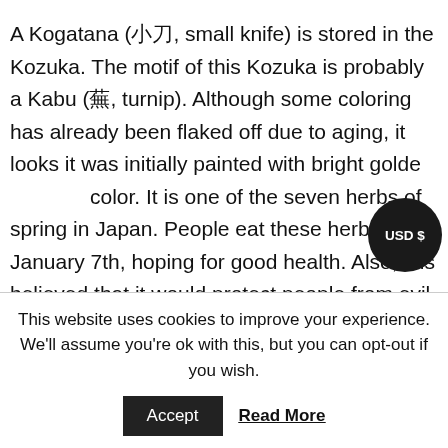A Kogatana (小刀, small knife) is stored in the Kozuka. The motif of this Kozuka is probably a Kabu (蕪, turnip). Although some coloring has already been flaked off due to aging, it looks it was initially painted with bright golden color. It is one of the seven herbs of spring in Japan. People eat these herbs on January 7th, hoping for good health. Also, it is believed that it would protect people from evil spirits.
[Figure (photo): A small knife (Kogatana) shown diagonally against a light background, with a blade visible pointing upward to the right.]
This website uses cookies to improve your experience. We'll assume you're ok with this, but you can opt-out if you wish.